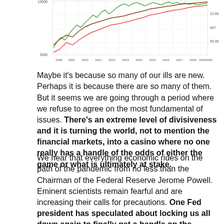[Figure (continuous-plot): A multi-line financial chart showing time series data from 2008 to 2020. Contains green and red lines representing market indicators, with a left y-axis starting around 5000 and right y-axis labels of 22.00, 40?, and 50.00. X-axis shows years: 2008, 2009, 2010, 2011, 2012, 2013, 2014, 2015, 2016, 2017, 2018, 2019, 2020.]
Maybe it's because so many of our ills are new. Perhaps it is because there are so many of them. But it seems we are going through a period where we refuse to agree on the most fundamental of issues. There's an extreme level of divisiveness and it is turning the world, not to mention the financial markets, into a casino where no one really has a handle of the odds of either the game or what is ultimately at stake.
We hear that everything economic rides on the path of the pandemic from no less than the Chairman of the Federal Reserve Jerome Powell. Eminent scientists remain fearful and are increasing their calls for precautions. One Fed president has speculated about locking us all down again to finally get a handle on the spread of the disease. Put the economy back to sleep to save it